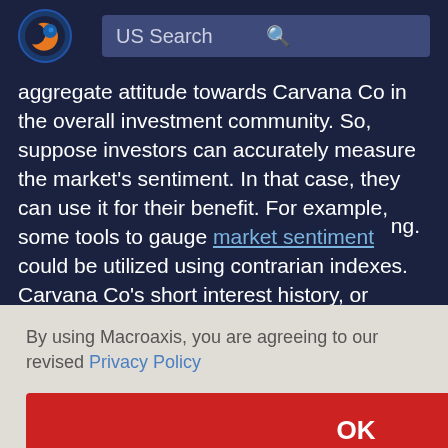US Search
aggregate attitude towards Carvana Co in the overall investment community. So, suppose investors can accurately measure the market's sentiment. In that case, they can use it for their benefit. For example, some tools to gauge market sentiment could be utilized using contrarian indexes. Carvana Co's short interest history, or implied
ng.
By using Macroaxis, you are agreeing to our revised Privacy Policy
OK
sk. Because there are two separate transactions required,